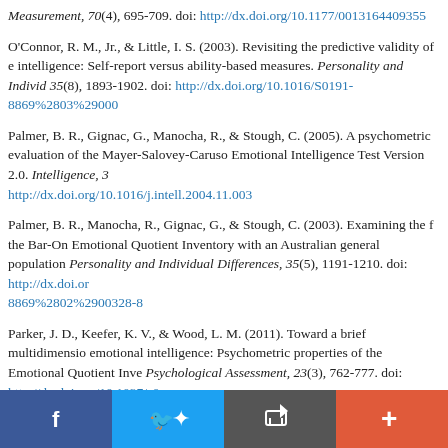Measurement, 70(4), 695-709. doi: http://dx.doi.org/10.1177/0013164409355
O'Connor, R. M., Jr., & Little, I. S. (2003). Revisiting the predictive validity of emotional intelligence: Self-report versus ability-based measures. Personality and Individual Differences, 35(8), 1893-1902. doi: http://dx.doi.org/10.1016/S0191-8869%2803%29000
Palmer, B. R., Gignac, G., Manocha, R., & Stough, C. (2005). A psychometric evaluation of the Mayer-Salovey-Caruso Emotional Intelligence Test Version 2.0. Intelligence, 3. http://dx.doi.org/10.1016/j.intell.2004.11.003
Palmer, B. R., Manocha, R., Gignac, G., & Stough, C. (2003). Examining the factor structure of the Bar-On Emotional Quotient Inventory with an Australian general population sample. Personality and Individual Differences, 35(5), 1191-1210. doi: http://dx.doi.org/10.1016/S0191-8869%2802%2900328-8
Parker, J. D., Keefer, K. V., & Wood, L. M. (2011). Toward a brief multidimensional assessment of emotional intelligence: Psychometric properties of the Emotional Quotient Inventory Short Form. Psychological Assessment, 23(3), 762-777. doi: http://dx.doi.org/10.1037/a0
Peterson, C. H. (2012). The individual regulation component of group emotional intelligence: Measure development and validation. Journal for Specialists in Group Work, 3. http://dx.doi.org/10.1080/01933922.2012.686962
[Figure (other): Social share bar with Facebook, Twitter, email/share, and add buttons]